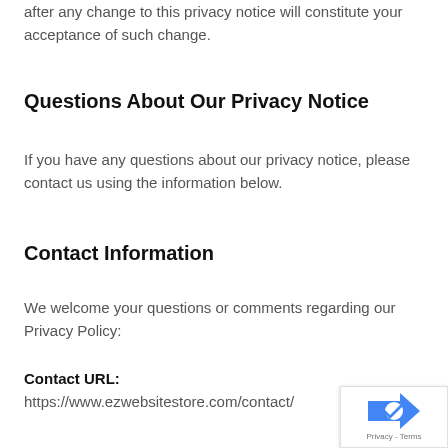after any change to this privacy notice will constitute your acceptance of such change.
Questions About Our Privacy Notice
If you have any questions about our privacy notice, please contact us using the information below.
Contact Information
We welcome your questions or comments regarding our Privacy Policy:
Contact URL: https://www.ezwebsitestore.com/contact/
[Figure (logo): Google reCAPTCHA badge with arrow logo and Privacy - Terms text]